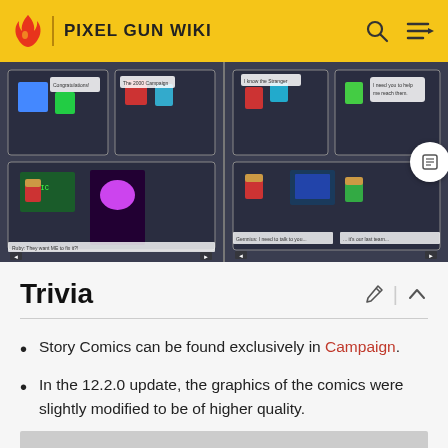PIXEL GUN WIKI
[Figure (screenshot): Two comic strip panels side by side from the Pixel Gun Wiki showing game story comics with pixel art characters in various scenes.]
Trivia
Story Comics can be found exclusively in Campaign.
In the 12.2.0 update, the graphics of the comics were slightly modified to be of higher quality.
[Figure (other): Advertisement placeholder (gray rectangle).]